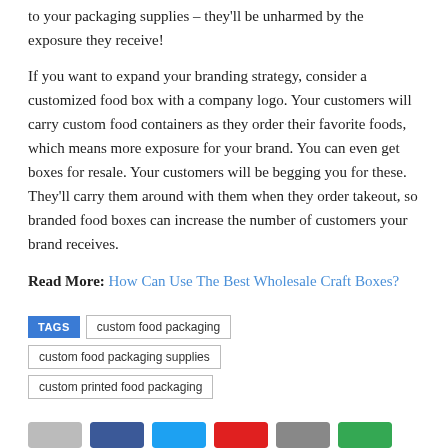to your packaging supplies – they'll be unharmed by the exposure they receive!
If you want to expand your branding strategy, consider a customized food box with a company logo. Your customers will carry custom food containers as they order their favorite foods, which means more exposure for your brand. You can even get boxes for resale. Your customers will be begging you for these. They'll carry them around with them when they order takeout, so branded food boxes can increase the number of customers your brand receives.
Read More: How Can Use The Best Wholesale Craft Boxes?
TAGS   custom food packaging   custom food packaging supplies   custom printed food packaging